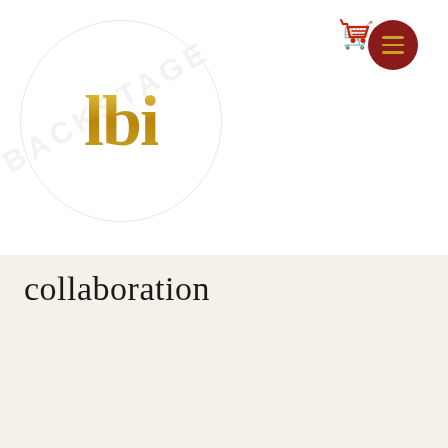[Figure (logo): lbi logo in gold serif bold text inside a light circular border, with a faint watermark text 'BACKSTAGE' in background]
[Figure (other): Red shopping cart icon in the top right area]
[Figure (other): Dark red circular hamburger menu button with gold/yellow horizontal lines, top right corner]
collaboration
[Figure (photo): Dark event/party photo with neon green and orange glowing lights, string lights hanging, colorful decorations, framed with a gold border]